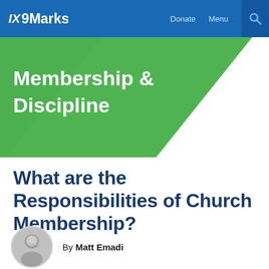IX 9Marks  Donate  Menu
[Figure (illustration): Green diagonal banner with bold white text reading 'Membership & Discipline']
What are the Responsibilities of Church Membership?
By Matt Emadi